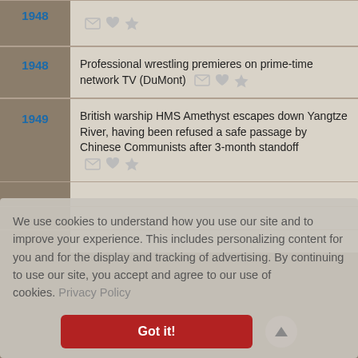1948
1948 - Professional wrestling premieres on prime-time network TV (DuMont)
1949 - British warship HMS Amethyst escapes down Yangtze River, having been refused a safe passage by Chinese Communists after 3-month standoff
We use cookies to understand how you use our site and to improve your experience. This includes personalizing content for you and for the display and tracking of advertising. By continuing to use our site, you accept and agree to our use of cookies. Privacy Policy
Got it!